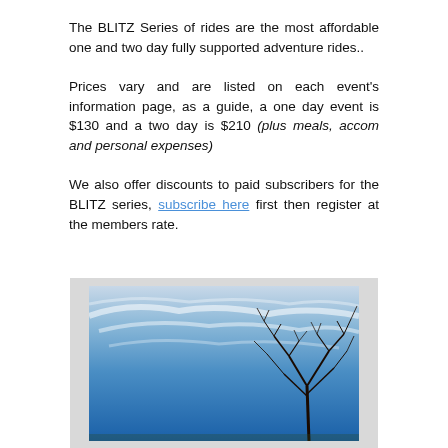The BLITZ Series of rides are the most affordable one and two day fully supported adventure rides..
Prices vary and are listed on each event's information page, as a guide, a one day event is $130 and a two day is $210 (plus meals, accom and personal expenses)
We also offer discounts to paid subscribers for the BLITZ series, subscribe here first then register at the members rate.
[Figure (photo): Photo of a bare winter tree against a vivid blue sky with wispy clouds, image has a light grey border/mat around it.]